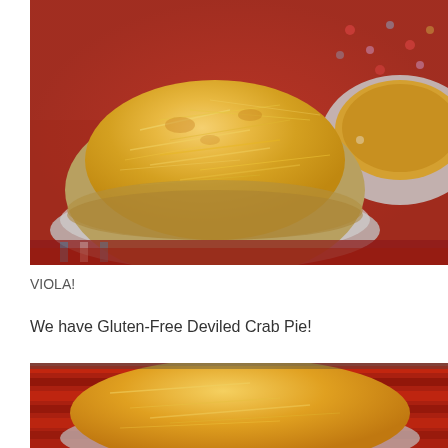[Figure (photo): A cheese-topped crab pie in a round aluminum foil pan, sitting on a red patterned tablecloth. A second similar pie is partially visible in the upper right corner.]
VIOLA!
We have Gluten-Free Deviled Crab Pie!
[Figure (photo): Partial view of a second cheese-topped crab pie in an aluminum pan on a red striped tablecloth, showing the golden browned cheese topping.]